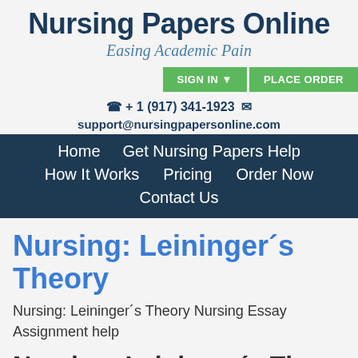Nursing Papers Online
Easing Academic Pain
SIGN IN ▼   PLACE ORDER
+ 1 (917) 341-1923
support@nursingpapersonline.com
Home   Get Nursing Papers Help   How It Works   Pricing   Order Now   Contact Us
Nursing: Leininger´s Theory
Nursing: Leininger´s Theory Nursing Essay Assignment help
Nursing: Leininger´s The…